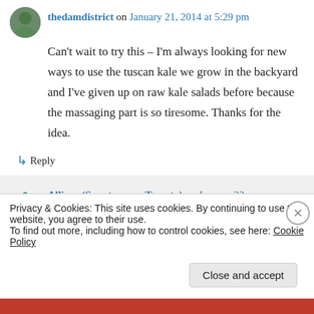thedamdistrict on January 21, 2014 at 5:29 pm
Can't wait to try this – I'm always looking for new ways to use the tuscan kale we grow in the backyard and I've given up on raw kale salads before because the massaging part is so tiresome. Thanks for the idea.
↳ Reply
Allison (Spontaneous Tomato) on January 23,
Privacy & Cookies: This site uses cookies. By continuing to use this website, you agree to their use.
To find out more, including how to control cookies, see here: Cookie Policy
Close and accept